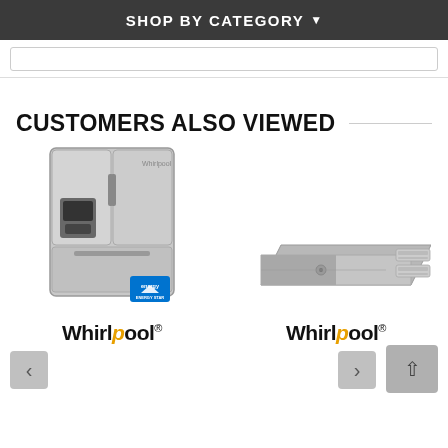SHOP BY CATEGORY ▾
CUSTOMERS ALSO VIEWED
[Figure (photo): Stainless steel French door refrigerator with bottom freezer and water/ice dispenser, with Energy Star badge]
[Figure (photo): Stainless steel kitchen sink or cooktop panel component, viewed from an angle]
[Figure (logo): Whirlpool brand logo (left product)]
[Figure (logo): Whirlpool brand logo (right product)]